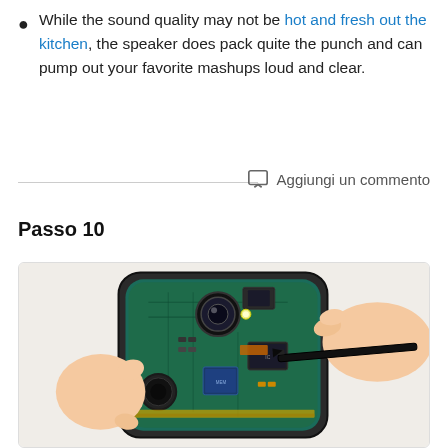While the sound quality may not be hot and fresh out the kitchen, the speaker does pack quite the punch and can pump out your favorite mashups loud and clear.
Aggiungi un commento
Passo 10
[Figure (photo): Hands holding a disassembled Samsung Galaxy smartphone showing the internal circuit board and components, with a spudger/pry tool being used to work on the motherboard area.]